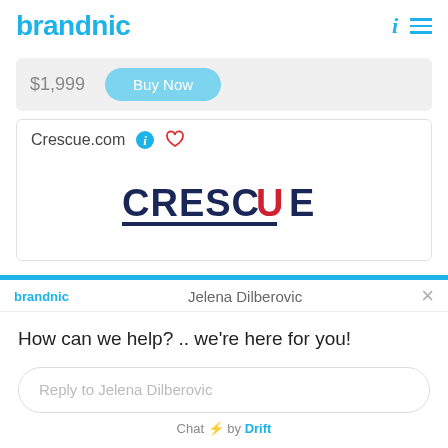[Figure (logo): brandnic logo in cyan blue text, top left]
$1,999
Buy Now
Crescue.com
[Figure (logo): CRESCUE logo with dark blue letters and red C accent, underlined]
[Figure (screenshot): Chat widget with brandnic label, agent Jelena Dilberovic, message: How can we help? .. we're here for you!, reply input field, Chat by Drift footer]